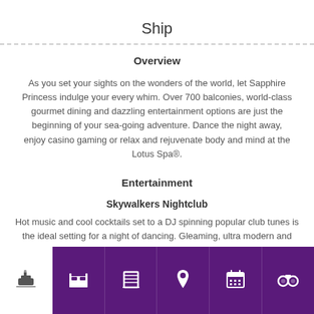Ship
Overview
As you set your sights on the wonders of the world, let Sapphire Princess indulge your every whim. Over 700 balconies, world-class gourmet dining and dazzling entertainment options are just the beginning of your sea-going adventure. Dance the night away, enjoy casino gaming or relax and rejuvenate body and mind at the Lotus Spa®.
Entertainment
Skywalkers Nightclub
Hot music and cool cocktails set to a DJ spinning popular club tunes is the ideal setting for a night of dancing. Gleaming, ultra modern and
Navigation bar with ship, bed, door, location, calendar, binoculars icons